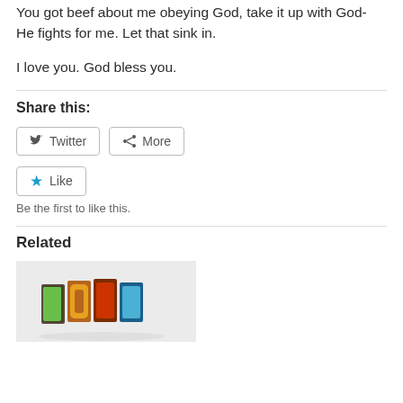You got beef about me obeying God, take it up with God- He fights for me. Let that sink in.
I love you. God bless you.
Share this:
Twitter | More
Like
Be the first to like this.
Related
[Figure (photo): Colorful wooden block letters spelling BORN on a white background]